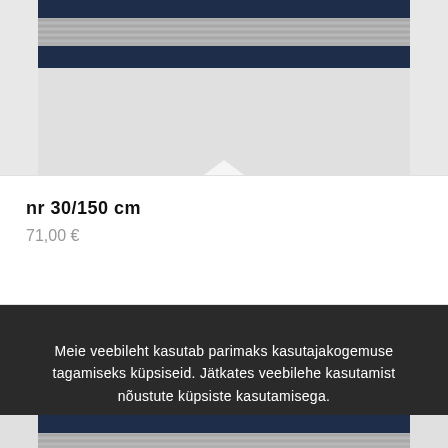[Figure (photo): Top portion of a product image showing a dark navy blue framed item with striped/ridged pattern, cut off at top]
nr 30/150 cm
71,00 €
Meie veebileht kasutab parimaks kasutajakogemuse tagamiseks küpsiseid. Jätkates veebilehe kasutamist nõustute küpsiste kasutamisega.
OK
Rohkem infot.
[Figure (photo): Bottom portion of another product image showing dark navy blue framed item, partially visible]